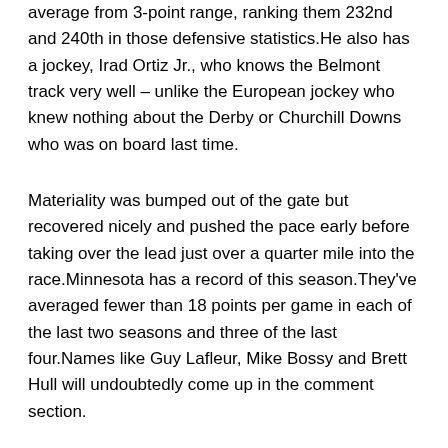average from 3-point range, ranking them 232nd and 240th in those defensive statistics.He also has a jockey, Irad Ortiz Jr., who knows the Belmont track very well – unlike the European jockey who knew nothing about the Derby or Churchill Downs who was on board last time.
Materiality was bumped out of the gate but recovered nicely and pushed the pace early before taking over the lead just over a quarter mile into the race.Minnesota has a record of this season.They've averaged fewer than 18 points per game in each of the last two seasons and three of the last four.Names like Guy Lafleur, Mike Bossy and Brett Hull will undoubtedly come up in the comment section.
We think it's an idea that will catch on in the segment, especially since Chrysler is introducing the Stow 'n Vac in the all-new 2017 Pacifica minivan.He pulls down 2 rebounds De'Vondre Campbell Womens Jersey per game and dishes out 1 assists per game as well.No Obligation.Benson added that she couldn't force Davis to stay with the Pelicans.
Take the Steelers.Jakob Poeltl averages 17 points per game while